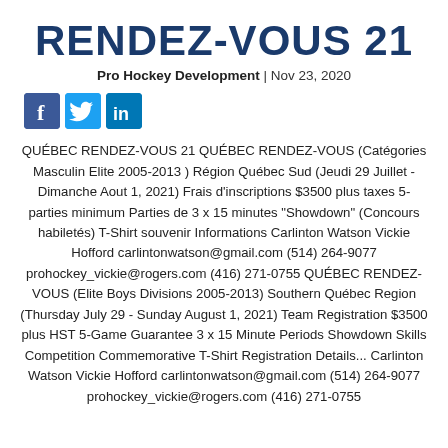RENDEZ-VOUS 21
Pro Hockey Development | Nov 23, 2020
[Figure (other): Social media icons: Facebook, Twitter, LinkedIn]
QUÉBEC RENDEZ-VOUS 21 QUÉBEC RENDEZ-VOUS (Catégories Masculin Elite 2005-2013 ) Région Québec Sud (Jeudi 29 Juillet - Dimanche Aout 1, 2021) Frais d'inscriptions $3500 plus taxes 5-parties minimum Parties de 3 x 15 minutes "Showdown" (Concours habiletés) T-Shirt souvenir Informations Carlinton Watson Vickie Hofford carlintonwatson@gmail.com (514) 264-9077 prohockey_vickie@rogers.com (416) 271-0755 QUÉBEC RENDEZ-VOUS (Elite Boys Divisions 2005-2013) Southern Québec Region (Thursday July 29 - Sunday August 1, 2021) Team Registration $3500 plus HST 5-Game Guarantee 3 x 15 Minute Periods Showdown Skills Competition Commemorative T-Shirt Registration Details... Carlinton Watson Vickie Hofford carlintonwatson@gmail.com (514) 264-9077 prohockey_vickie@rogers.com (416) 271-0755